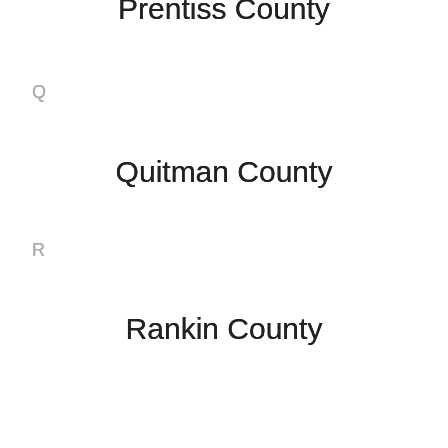Prentiss County
Q
Quitman County
R
Rankin County
S
Scott County
Sharkey County
Simpson County
Smith County
Stone County
Sunflower County